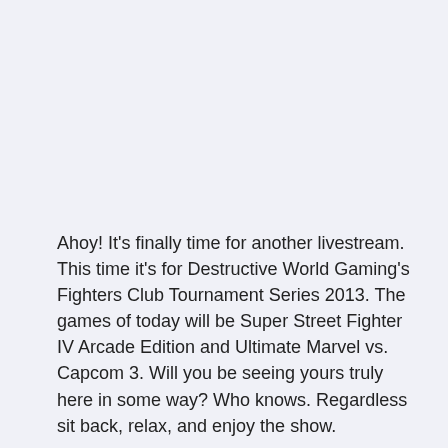Ahoy! It's finally time for another livestream. This time it's for Destructive World Gaming's Fighters Club Tournament Series 2013. The games of today will be Super Street Fighter IV Arcade Edition and Ultimate Marvel vs. Capcom 3. Will you be seeing yours truly here in some way? Who knows. Regardless sit back, relax, and enjoy the show.
Tournament begins at 4PM. The stream should begin at the same time.
[Note: if you're seeing this image instead of a stream (minus the